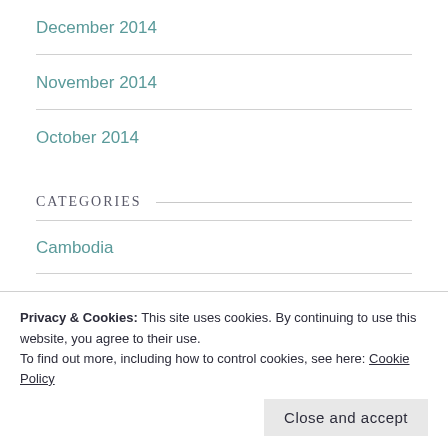December 2014
November 2014
October 2014
CATEGORIES
Cambodia
China
Family Gap Year
Privacy & Cookies: This site uses cookies. By continuing to use this website, you agree to their use.
To find out more, including how to control cookies, see here: Cookie Policy
Close and accept